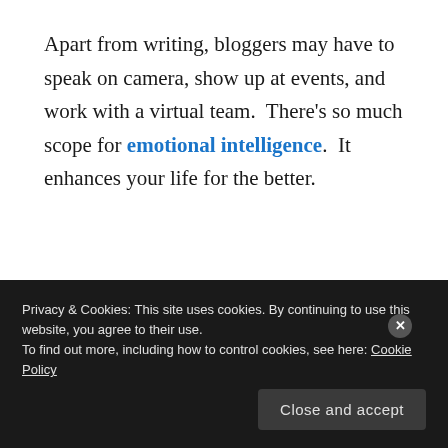Apart from writing, bloggers may have to speak on camera, show up at events, and work with a virtual team.  There's so much scope for emotional intelligence.  It enhances your life for the better.
[Figure (other): Profile card for tipsfromsharvi showing avatar, username, 627 followers, and a blue View profile button]
Privacy & Cookies: This site uses cookies. By continuing to use this website, you agree to their use.
To find out more, including how to control cookies, see here: Cookie Policy
Close and accept